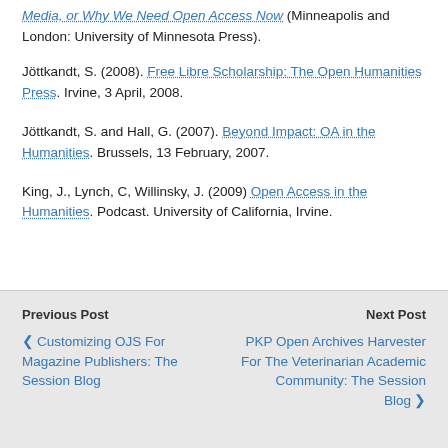Media, or Why We Need Open Access Now (Minneapolis and London: University of Minnesota Press).
Jöttkandt, S. (2008). Free Libre Scholarship: The Open Humanities Press. Irvine, 3 April, 2008.
Jöttkandt, S. and Hall, G. (2007). Beyond Impact: OA in the Humanities.  Brussels, 13 February, 2007.
King, J., Lynch, C, Willinsky, J. (2009) Open Access in the Humanities. Podcast.  University of California, Irvine.
Previous Post | Customizing OJS For Magazine Publishers: The Session Blog || Next Post | PKP Open Archives Harvester For The Veterinarian Academic Community: The Session Blog